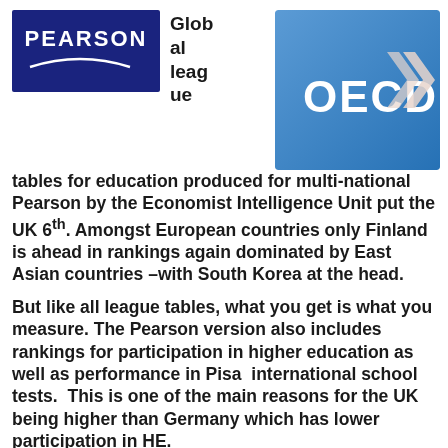[Figure (logo): Pearson logo — dark navy blue rectangle with 'PEARSON' in white bold letters and a white arc beneath]
Global league tables for education produced for multi-national Pearson by the Economist Intelligence Unit put the UK 6th. Amongst European countries only Finland is ahead in rankings again dominated by East Asian countries –with South Korea at the head.
[Figure (logo): OECD logo — blue square with 'OECD' in white letters and two white chevrons/arrows pointing left]
But like all league tables, what you get is what you measure. The Pearson version also includes rankings for participation in higher education as well as performance in Pisa  international school tests.  This is one of the main reasons for the UK being higher than Germany which has lower participation in HE.